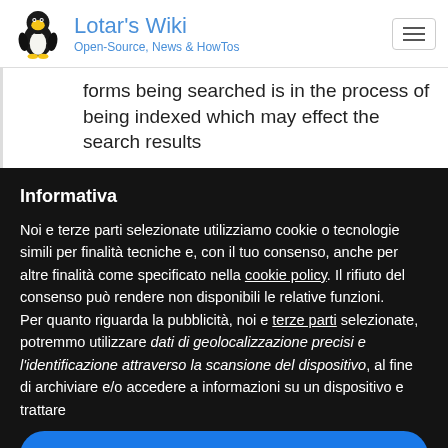Lotar's Wiki — Open-Source, News & HowTos
forms being searched is in the process of being indexed which may effect the search results
Informativa
Noi e terze parti selezionate utilizziamo cookie o tecnologie simili per finalità tecniche e, con il tuo consenso, anche per altre finalità come specificato nella cookie policy. Il rifiuto del consenso può rendere non disponibili le relative funzioni.
Per quanto riguarda la pubblicità, noi e terze parti selezionate, potremmo utilizzare dati di geolocalizzazione precisi e l'identificazione attraverso la scansione del dispositivo, al fine di archiviare e/o accedere a informazioni su un dispositivo e trattare
Accetta
Scopri di più e personalizza